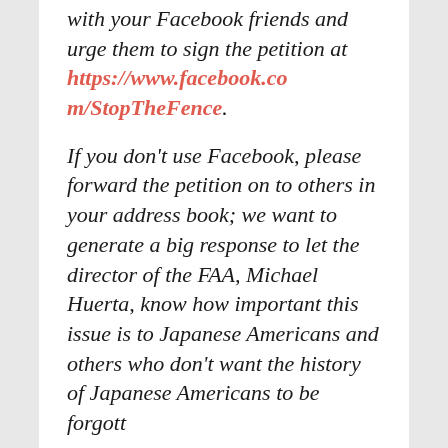with your Facebook friends and urge them to sign the petition at https://www.facebook.com/StopTheFence.
If you don't use Facebook, please forward the petition on to others in your address book; we want to generate a big response to let the director of the FAA, Michael Huerta, know how important this issue is to Japanese Americans and others who don't want the history of Japanese Americans to be forgotten.